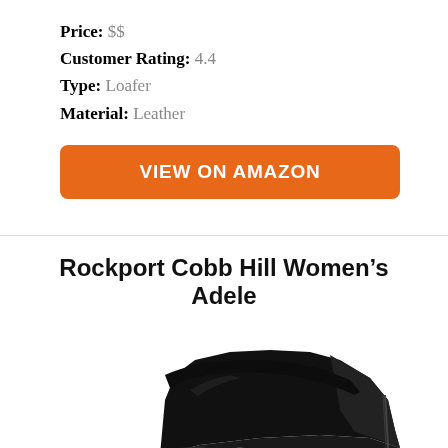Price: $$
Customer Rating: 4.4
Type: Loafer
Material: Leather
VIEW ON AMAZON
Rockport Cobb Hill Women's Adele
[Figure (photo): Black leather ankle boot/loafer shoe, Rockport Cobb Hill Women's Adele, photographed from the side showing button detail and wrinkled leather texture, on white background.]